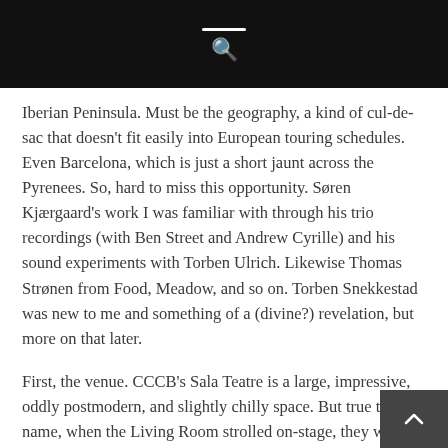search
Iberian Peninsula. Must be the geography, a kind of cul-de-sac that doesn't fit easily into European touring schedules. Even Barcelona, which is just a short jaunt across the Pyrenees. So, hard to miss this opportunity. Søren Kjærgaard's work I was familiar with through his trio recordings (with Ben Street and Andrew Cyrille) and his sound experiments with Torben Ulrich. Likewise Thomas Strønen from Food, Meadow, and so on. Torben Snekkestad was new to me and something of a (divine?) revelation, but more on that later.
First, the venue. CCCB's Sala Teatre is a large, impressive, oddly postmodern, and slightly chilly space. But true to their name, when the Living Room strolled on-stage, they were met with an audience lounging on beanbags and reclining chairs, with tiny lamps dotted around the floor's many rugs. Cosy!